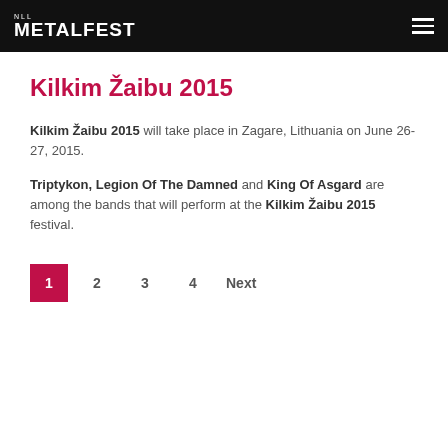NLL METALFEST
Kilkim Žaibu 2015
Kilkim Žaibu 2015 will take place in Zagare, Lithuania on June 26-27, 2015.
Triptykon, Legion Of The Damned and King Of Asgard are among the bands that will perform at the Kilkim Žaibu 2015 festival.
1 2 3 4 Next